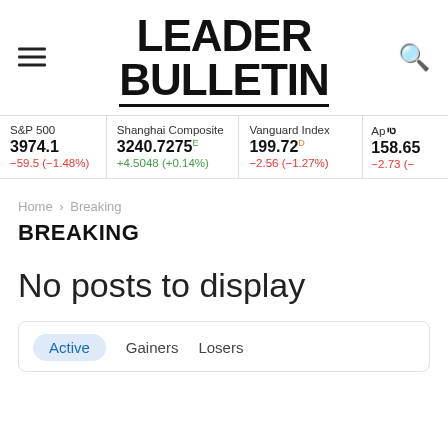LEADER BULLETIN
| Index | Price | Change |
| --- | --- | --- |
| S&P 500 | 3974.1 | −59.5 (−1.48%) |
| Shanghai Composite | 3240.7275 E | +4.5048 (+0.14%) |
| Vanguard Index | 199.72 D | −2.56 (−1.27%) |
| Ap | 158.65 | −2.73 (− |
Home › Breaking
BREAKING
No posts to display
Active   Gainers   Losers